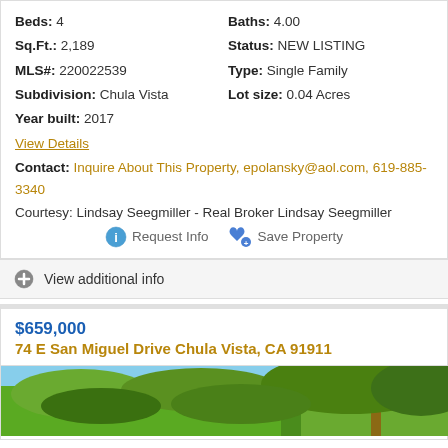Beds: 4 | Baths: 4.00
Sq.Ft.: 2,189 | Status: NEW LISTING
MLS#: 220022539 | Type: Single Family
Subdivision: Chula Vista | Lot size: 0.04 Acres
Year built: 2017
View Details
Contact: Inquire About This Property, epolansky@aol.com, 619-885-3340
Courtesy: Lindsay Seegmiller - Real Broker Lindsay Seegmiller
Request Info | Save Property
View additional info
$659,000
74 E San Miguel Drive Chula Vista, CA 91911
[Figure (photo): Exterior photo of property at 74 E San Miguel Drive, showing blue sky and green foliage/vegetation]